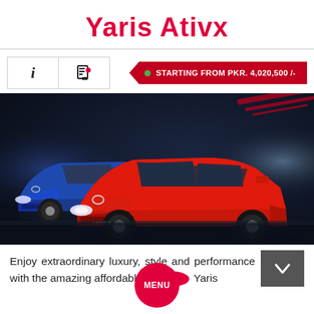Yaris Ativx
STARTING FROM PKR. 4,020,500 /-
[Figure (photo): Two Toyota Yaris Ativx sedans (one blue, one red) shown on a dark dramatic background]
Enjoy extraordinary luxury, style and performance with the amazing affordable a... Yaris